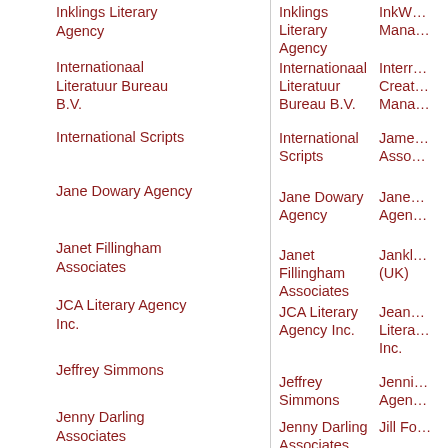Inklings Literary Agency
Internationaal Literatuur Bureau B.V.
International Scripts
Jane Dowary Agency
Janet Fillingham Associates
JCA Literary Agency Inc.
Jeffrey Simmons
Jenny Darling Associates
Joan Daves Agency
Johnson & Alcock Ltd
Josef Weinberger Plays Ltd
InkW... Mana...
Interr... Creat... Mana...
Jame... Asso...
Jane... Agen...
Jankl... (UK)
Jean... Litera... Inc.
Jenni... Agen...
Jill Fo...
John... Asso...
Jonat... Ltd
Judith... Agen...